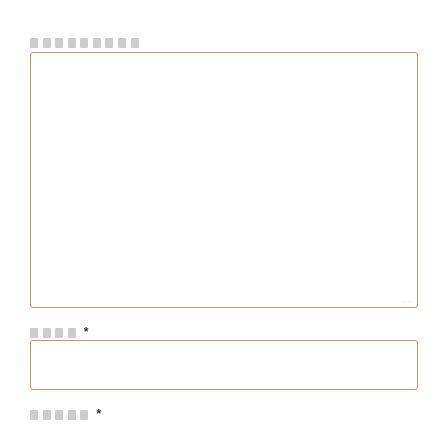████████
[Figure (other): Large empty text area input box with orange/tan border and resize handle at bottom-right]
████ *
[Figure (other): Single-line text input field with orange/tan border]
█████ *